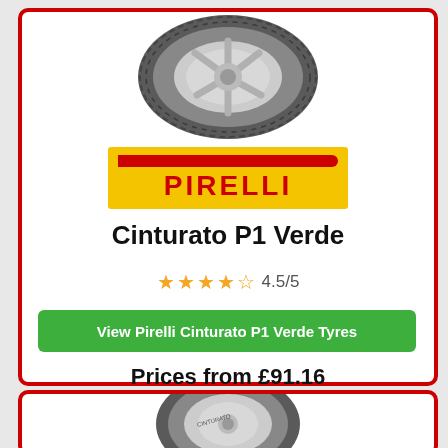[Figure (photo): Pirelli Cinturato P1 Verde tyre photo, top card]
[Figure (logo): Pirelli logo on yellow background]
Cinturato P1 Verde
4.5/5 star rating
View Pirelli Cinturato P1 Verde Tyres
Prices from £91.16
[Figure (photo): Tyre photo, bottom card partial]